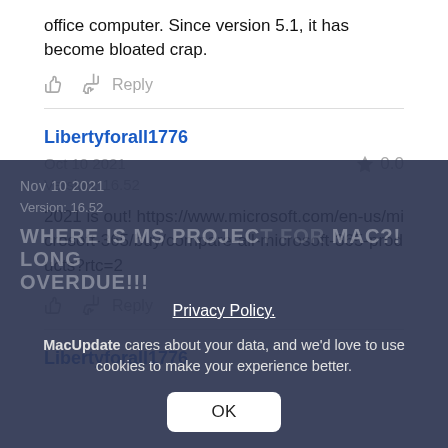office computer. Since version 5.1, it has become bloated crap.
👍 👎 Reply
Libertyforall1776
Oct 10 2021   ★ 0.0
Version: 16.52
2021 is out! https://www.microsoft.com/en-us/microsoft-365/buy/compare-all-microsoft-365-products?rtc=2
👍 👎 Reply
Libertyforall1776
Privacy Policy.
MacUpdate cares about your data, and we'd love to use cookies to make your experience better.
OK